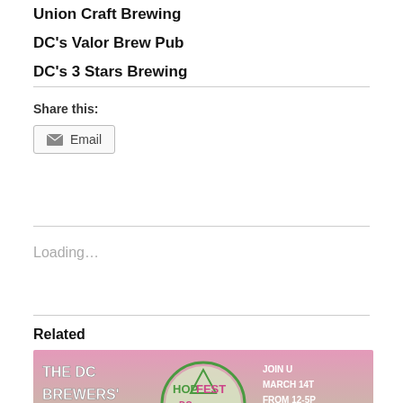Union Craft Brewing
DC's Valor Brew Pub
DC's 3 Stars Brewing
Share this:
Email
Loading...
Related
[Figure (photo): DC Brewers Guild Hop Fest 2020 promotional banner – pink and green background with 'THE DC BREWERS' GUILD' text on left, 'HOPFEST DC' logo in center, and 'JOIN US MARCH 14TH FROM 12-5PM AT DC BRA... FOR HOP FEST 2020' text on right]